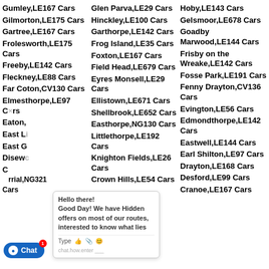Gumley,LE167 Cars
Gilmorton,LE175 Cars
Gartree,LE167 Cars
Frolesworth,LE175 Cars
Freeby,LE142 Cars
Fleckney,LE88 Cars
Far Coton,CV130 Cars
Elmesthorpe,LE97 Cars
Eaton,...
East Li...ars
East G...rs
Disewc...s
C...rrial,NG321 Cars
Glen Parva,LE29 Cars
Hinckley,LE100 Cars
Garthorpe,LE142 Cars
Frog Island,LE35 Cars
Foxton,LE167 Cars
Field Head,LE679 Cars
Eyres Monsell,LE29 Cars
Ellistown,LE671 Cars
Shellbrook,LE652 Cars
Easthorpe,NG130 Cars
Littlethorpe,LE192 Cars
Knighton Fields,LE26 Cars
Crown Hills,LE54 Cars
Hoby,LE143 Cars
Gelsmoor,LE678 Cars
Goadby Marwood,LE144 Cars
Frisby on the Wreake,LE142 Cars
Fosse Park,LE191 Cars
Fenny Drayton,CV136 Cars
Evington,LE56 Cars
Edmondthorpe,LE142 Cars
Eastwell,LE144 Cars
Earl Shilton,LE97 Cars
Drayton,LE168 Cars
Desford,LE99 Cars
Cranoe,LE167 Cars